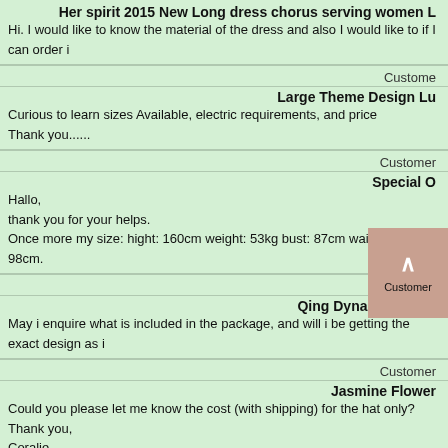Her spirit 2015 New Long dress chorus serving women L
Hi. I would like to know the material of the dress and also I would like to if I can order i
Customer
Large Theme Design Lu
Curious to learn sizes Available, electric requirements, and price
Thank you......
Customer
Special O
Hallo,
thank you for your helps.
Once more my size: hight: 160cm weight: 53kg bust: 87cm waist:78cm hip: 98cm.
Custom
Qing Dynasty Palace
May i enquire what is included in the package, and will i be getting the exact design as i
Customer
Jasmine Flower
Could you please let me know the cost (with shipping) for the hat only?
Thank you,
Coralie.......